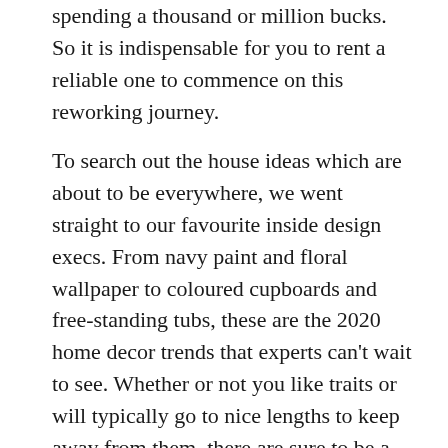spending a thousand or million bucks. So it is indispensable for you to rent a reliable one to commence on this reworking journey.
To search out the house ideas which are about to be everywhere, we went straight to our favourite inside design execs. From navy paint and floral wallpaper to coloured cupboards and free-standing tubs, these are the 2020 home decor trends that experts can't wait to see. Whether or not you like traits or will typically go to nice lengths to keep away from them, there are sure to be a number of concepts on our list that you'll adore (and will proceed to adore into the next decade).
...